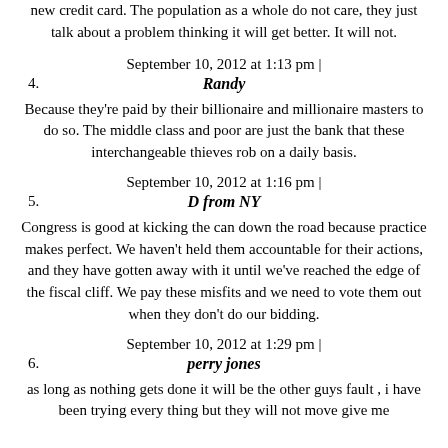new credit card. The population as a whole do not care, they just talk about a problem thinking it will get better. It will not.
September 10, 2012 at 1:13 pm |
4. Randy
Because they're paid by their billionaire and millionaire masters to do so. The middle class and poor are just the bank that these interchangeable thieves rob on a daily basis.
September 10, 2012 at 1:16 pm |
5. D from NY
Congress is good at kicking the can down the road because practice makes perfect. We haven't held them accountable for their actions, and they have gotten away with it until we've reached the edge of the fiscal cliff. We pay these misfits and we need to vote them out when they don't do our bidding.
September 10, 2012 at 1:29 pm |
6. perry jones
as long as nothing gets done it will be the other guys fault , i have been trying every thing but they will not move give me